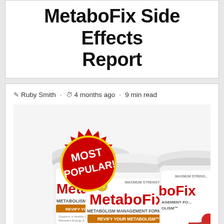MetaboFix Side Effects Report
Ruby Smith · 4 months ago · 9 min read
[Figure (photo): Three containers of MetaboFix Metabolism Management Formula supplement powder with a red 'MOST POPULAR!' starburst badge overlay. Gold Vida branding visible. Maximum Strength label shown. Berry fruits visible on right side.]